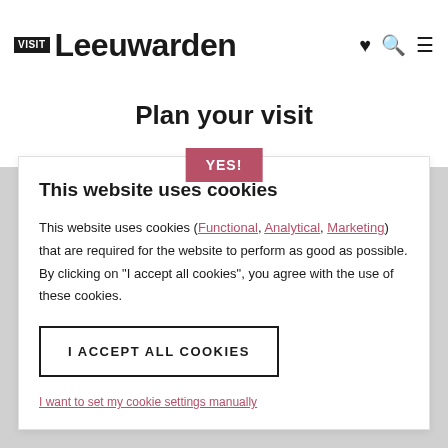VISIT Leeuwarden
Plan your visit
[Figure (other): YES! button in pink/rose color]
This website uses cookies
This website uses cookies (Functional, Analytical, Marketing) that are required for the website to perform as good as possible. By clicking on "I accept all cookies", you agree with the use of these cookies.
I ACCEPT ALL COOKIES
I want to set my cookie settings manually